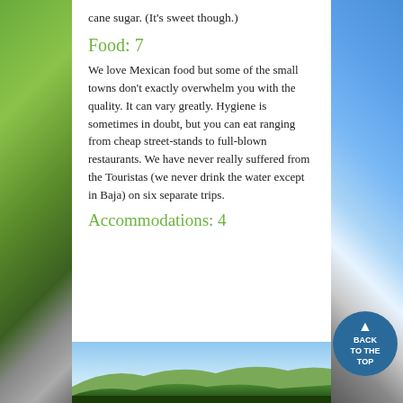cane sugar. (It's sweet though.)
Food: 7
We love Mexican food but some of the small towns don't exactly overwhelm you with the quality. It can vary greatly. Hygiene is sometimes in doubt, but you can eat ranging from cheap street-stands to full-blown restaurants. We have never really suffered from the Touristas (we never drink the water except in Baja) on six separate trips.
Accommodations: 4
[Figure (photo): Landscape photo showing mountains and coastal scenery with green hills]